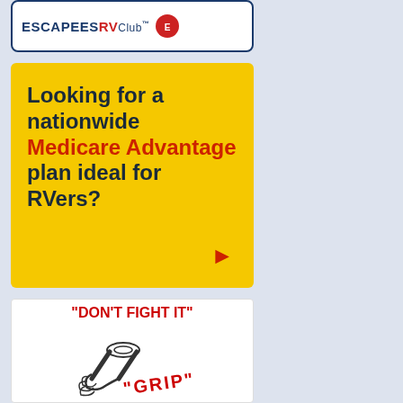[Figure (logo): Escapees RV Club logo with text ESCAPEESRV Club and a red circular emblem]
[Figure (infographic): Yellow advertisement box reading: Looking for a nationwide Medicare Advantage plan ideal for RVers? with a red arrow pointing right]
[Figure (illustration): White advertisement box with red text DON'T FIGHT IT at top, hand gripping a wrench illustration, and red diagonal text GRIP at bottom]